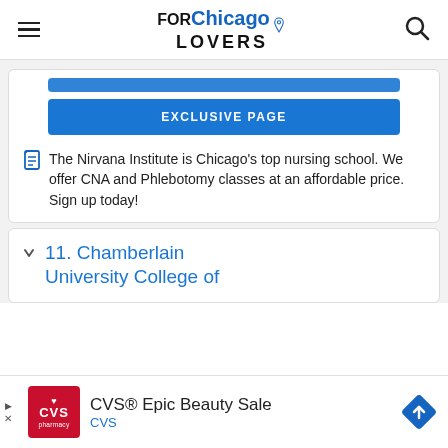FOR Chicago LOVERS — navigation header with hamburger menu and search icon
[Figure (screenshot): Partially visible blue button at top of card (cut off)]
EXCLUSIVE PAGE
The Nirvana Institute is Chicago's top nursing school. We offer CNA and Phlebotomy classes at an affordable price. Sign up today!
11. Chamberlain University College of
[Figure (infographic): CVS Epic Beauty Sale advertisement with CVS pharmacy logo and navigation diamond icon]